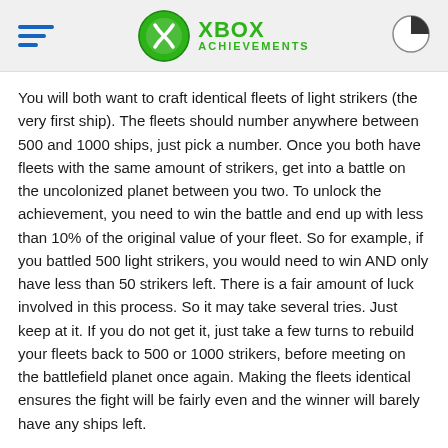XBOX ACHIEVEMENTS
You will both want to craft identical fleets of light strikers (the very first ship). The fleets should number anywhere between 500 and 1000 ships, just pick a number. Once you both have fleets with the same amount of strikers, get into a battle on the uncolonized planet between you two. To unlock the achievement, you need to win the battle and end up with less than 10% of the original value of your fleet. So for example, if you battled 500 light strikers, you would need to win AND only have less than 50 strikers left. There is a fair amount of luck involved in this process. So it may take several tries. Just keep at it. If you do not get it, just take a few turns to rebuild your fleets back to 500 or 1000 strikers, before meeting on the battlefield planet once again. Making the fleets identical ensures the fight will be fairly even and the winner will barely have any ships left.
While you have this process set-up, your opponent should attempt the achievement as well.
Have them use 500 strikers as well, but have them at 1000...